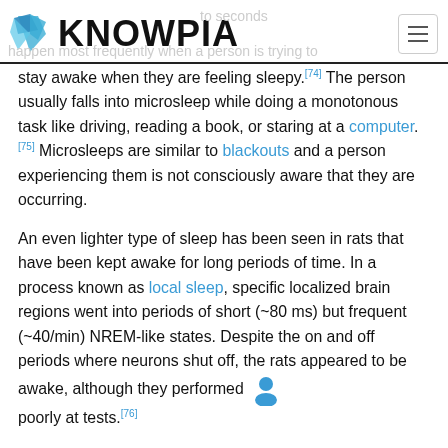KNOWPIA
stay awake when they are feeling sleepy.[74] The person usually falls into microsleep while doing a monotonous task like driving, reading a book, or staring at a computer.[75] Microsleeps are similar to blackouts and a person experiencing them is not consciously aware that they are occurring.
An even lighter type of sleep has been seen in rats that have been kept awake for long periods of time. In a process known as local sleep, specific localized brain regions went into periods of short (~80 ms) but frequent (~40/min) NREM-like states. Despite the on and off periods where neurons shut off, the rats appeared to be awake, although they performed poorly at tests.[76]